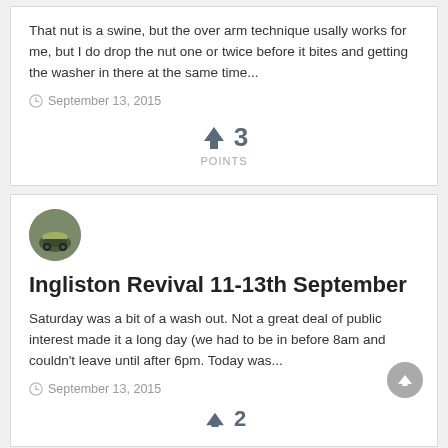That nut is a swine, but the over arm technique usally works for me, but I do drop the nut one or twice before it bites and getting the washer in there at the same time...
September 13, 2015
↑ 3
POINTS
[Figure (photo): Circular avatar image showing a car with a rooftop tent]
Ingliston Revival 11-13th September
Saturday was a bit of a wash out. Not a great deal of public interest made it a long day (we had to be in before 8am and couldn't leave until after 6pm. Today was...
September 13, 2015
[Figure (other): Partial upvote arrow with number 2 at bottom of page]